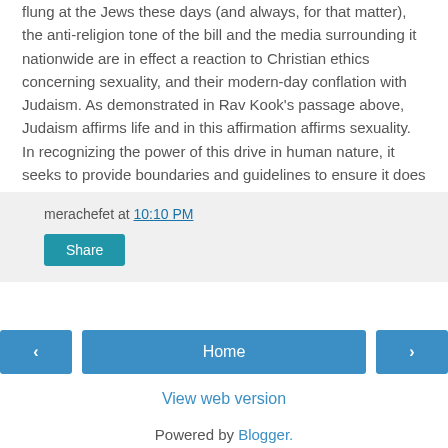flung at the Jews these days (and always, for that matter), the anti-religion tone of the bill and the media surrounding it nationwide are in effect a reaction to Christian ethics concerning sexuality, and their modern-day conflation with Judaism. As demonstrated in Rav Kook's passage above, Judaism affirms life and in this affirmation affirms sexuality. In recognizing the power of this drive in human nature, it seeks to provide boundaries and guidelines to ensure it does not eclipse all parts of one's life and of a society, so as to not nullify its own purpose - re-creation.
merachefet at 10:10 PM
Share
‹
Home
›
View web version
Powered by Blogger.